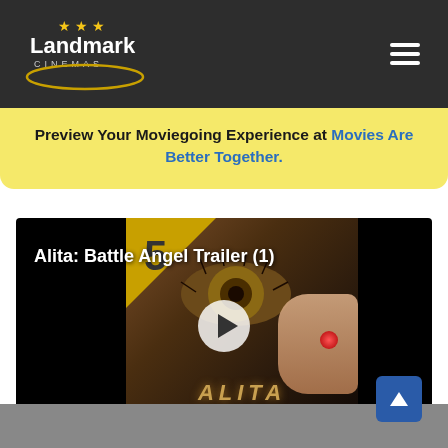Landmark Cinemas
Preview Your Moviegoing Experience at Movies Are Better Together.
[Figure (screenshot): Video player showing Alita: Battle Angel Trailer (1) with a play button overlay on a black background with movie poster imagery]
Alita: Battle Angel Trailer (1)